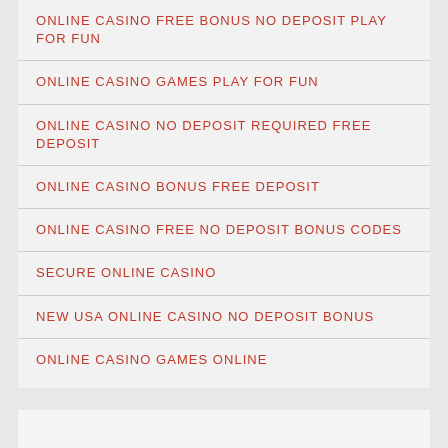ONLINE CASINO FREE BONUS NO DEPOSIT PLAY FOR FUN
ONLINE CASINO GAMES PLAY FOR FUN
ONLINE CASINO NO DEPOSIT REQUIRED FREE DEPOSIT
ONLINE CASINO BONUS FREE DEPOSIT
ONLINE CASINO FREE NO DEPOSIT BONUS CODES
SECURE ONLINE CASINO
NEW USA ONLINE CASINO NO DEPOSIT BONUS
ONLINE CASINO GAMES ONLINE